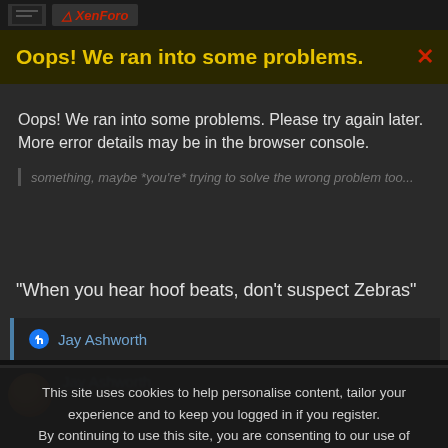[logo/nav bar]
Oops! We ran into some problems.
Oops! We ran into some problems. Please try again later. More error details may be in the browser console.
something, maybe *you're* trying to solve the wrong problem too...
"When you hear hoof beats, don't suspect Zebras"
Jay Ashworth
This site uses cookies to help personalise content, tailor your experience and to keep you logged in if you register.
By continuing to use this site, you are consenting to our use of cookies.
A common rendering of the quote, Steve, but I've been told -- and the only complete citation I can('t) find is the one I posted in my long dead blog -- that the medical professor who originated that quote actually said: